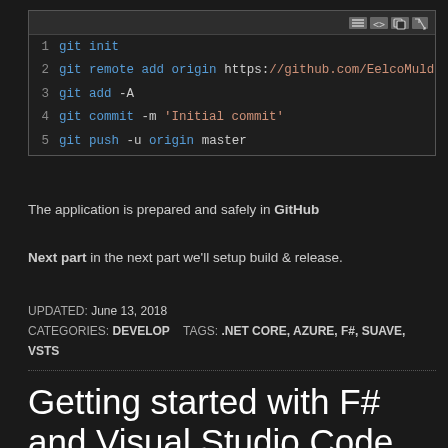[Figure (screenshot): Code editor screenshot showing 5 git commands: git init, git remote add origin https://github.com/EelcoMulder/S..., git add -A, git commit -m 'Initial commit', git push -u origin master. With toolbar icons at top right.]
The application is prepared and safely in GitHub
Next part in the next part we'll setup build & release.
UPDATED: June 13, 2018
CATEGORIES: DEVELOP    TAGS: .NET CORE, AZURE, F#, SUAVE, VSTS
Getting started with F# and Visual Studio Code on Windows – Part III Create, run and debug F# Console application...